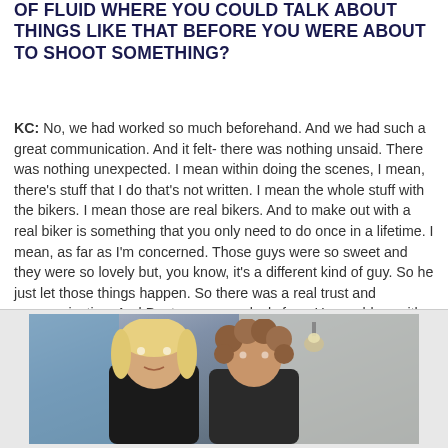OF FLUID WHERE YOU COULD TALK ABOUT THINGS LIKE THAT BEFORE YOU WERE ABOUT TO SHOOT SOMETHING?
KC: No, we had worked so much beforehand. And we had such a great communication. And it felt- there was nothing unsaid. There was nothing unexpected. I mean within doing the scenes, I mean, there's stuff that I do that's not written. I mean the whole stuff with the bikers. I mean those are real bikers. And to make out with a real biker is something that you only need to do once in a lifetime. I mean, as far as I'm concerned. Those guys were so sweet and they were so lovely but, you know, it's a different kind of guy. So he just let those things happen. So there was a real trust and communication. And Dusty was complexly free. He would go with wherever you were going in the scene. Which is just his- he doesn't have a lot of experience but that's just his talent as an actor.
[Figure (photo): Photo of two people, a blonde woman and a person with curly hair, standing outdoors near a blue door and light-colored wall.]